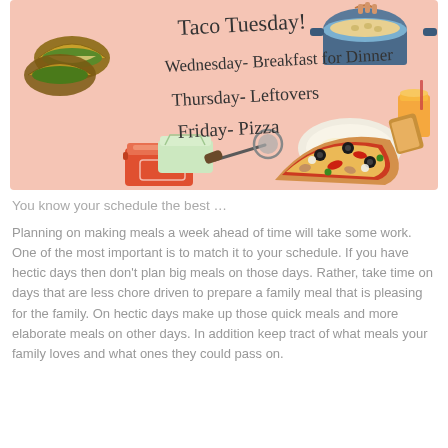[Figure (illustration): A meal planning illustration on a pink/salmon background showing a weekly dinner menu in handwritten script: 'Taco Tuesday!', 'Wednesday- Breakfast for Dinner', 'Thursday- Leftovers', 'Friday- Pizza'. Surrounding food illustrations include tacos, a pot of rice/grain, a glass of orange juice, a plate with eggs and toast, food storage containers, a pizza cutter, and a topped pizza.]
You know your schedule the best …
Planning on making meals a week ahead of time will take some work. One of the most important is to match it to your schedule. If you have hectic days then don't plan big meals on those days. Rather, take time on days that are less chore driven to prepare a family meal that is pleasing for the family. On hectic days make up those quick meals and more elaborate meals on other days. In addition keep tract of what meals your family loves and what ones they could pass on.